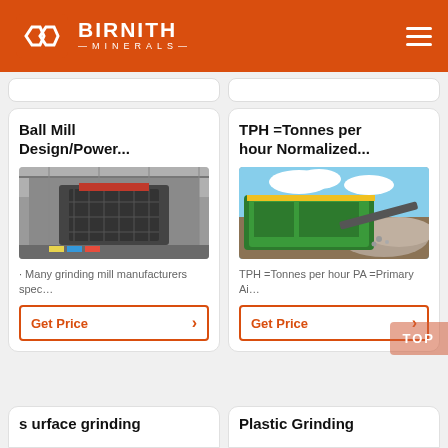BIRNITH MINERALS
Ball Mill Design/Power...
[Figure (photo): Industrial ball mill grinding machine inside a factory]
· Many grinding mill manufacturers spec…
Get Price
TPH =Tonnes per hour Normalized...
[Figure (photo): Green industrial crushing/screening machine outdoors with gravel]
TPH =Tonnes per hour PA =Primary Ai…
Get Price
s urface grinding
Plastic Grinding